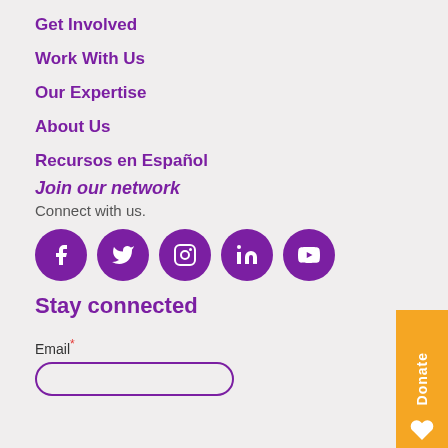Get Involved
Work With Us
Our Expertise
About Us
Recursos en Español
Join our network
Connect with us.
[Figure (infographic): Social media icons: Facebook, Twitter, Instagram, LinkedIn, YouTube — purple circles with white icons]
Stay connected
Email*
[Figure (other): Donate button on right side, orange background, vertical text 'Donate' with heart icon]